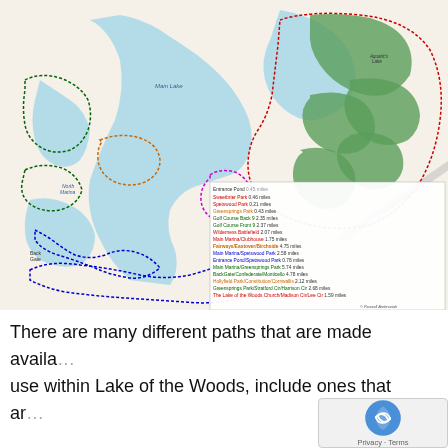[Figure (map): Colored trail/path map of Lake of the Woods community showing various walking and cycling routes in different colors (red, blue, green, orange, pink/magenta). The map shows Main Lake, North Marina, Back Gate, Aquatic Center Lake area, golf course fairways (green), and various neighborhood paths. A legend in the lower right lists route names and distances in miles.]
There are many different paths that are made available for use within Lake of the Woods, include ones that ar...